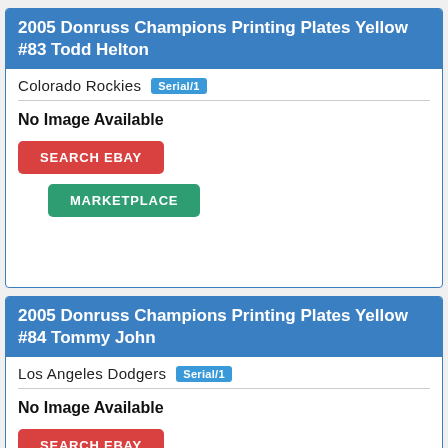2005 Donruss Champions Printing Plates Yellow #83 Todd Helton
Colorado Rockies Serial/1
No Image Available
SEARCH EBAY
MARKETPLACE
2005 Donruss Champions Printing Plates Yellow #84 Tommy John
Los Angeles Dodgers Serial/1
No Image Available
SEARCH EBAY
MARKETPLACE